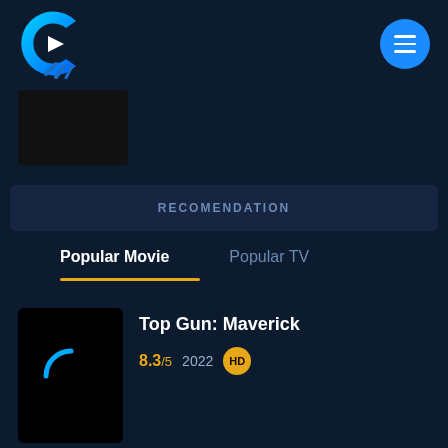[Figure (logo): C-shaped streaming app logo with play button triangle and film reel, in cyan/blue gradient]
[Figure (illustration): Circular blue menu/hamburger button with three white horizontal lines]
[Figure (photo): Black rectangular thumbnail placeholder]
RECOMENDATION
Popular Movie
Popular TV
Top Gun: Maverick
8.3/5  2022  HD